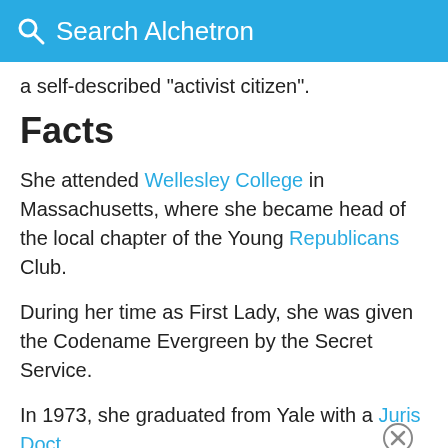Search Alchetron
a self-described "activist citizen".
Facts
She attended Wellesley College in Massachusetts, where she became head of the local chapter of the Young Republicans Club.
During her time as First Lady, she was given the Codename Evergreen by the Secret Service.
In 1973, she graduated from Yale with a Juris Doctor degree.
Hillary Clinton was the first woman elected to the New York senate.